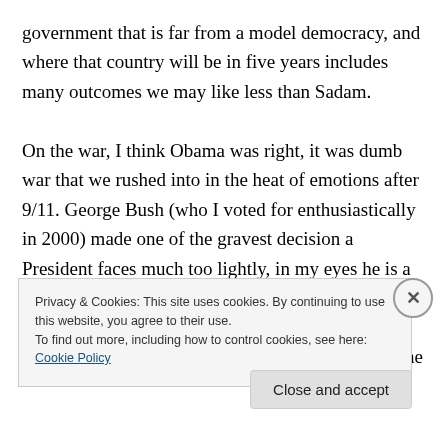government that is far from a model democracy, and where that country will be in five years includes many outcomes we may like less than Sadam.

On the war, I think Obama was right, it was dumb war that we rushed into in the heat of emotions after 9/11. George Bush (who I voted for enthusiastically in 2000) made one of the gravest decision a President faces much too lightly, in my eyes he is a failed President on that basis alone. I think he made up his mind and then basically didn't want to be bothered with facts. Look how long it took before he
Privacy & Cookies: This site uses cookies. By continuing to use this website, you agree to their use.
To find out more, including how to control cookies, see here: Cookie Policy
Close and accept